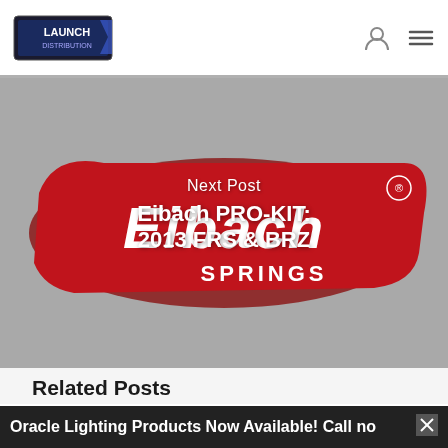Launch Distribution
[Figure (photo): Eibach Springs logo on grey background with 'Next Post' label and 'Eibach PRO-KIT: 2013 FRS & BRZ' title overlaid in white text]
Next Post
Eibach PRO-KIT: 2013 FRS & BRZ
Related Posts
Oracle Lighting Products Now Available! Call now